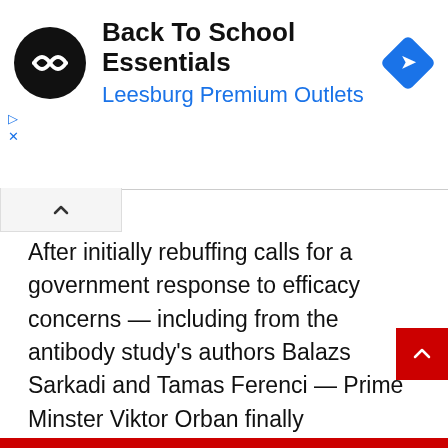[Figure (other): Advertisement banner: Back To School Essentials - Leesburg Premium Outlets, with circular logo and blue diamond navigation icon]
After initially rebuffing calls for a government response to efficacy concerns — including from the antibody study's authors Balazs Sarkadi and Tamas Ferenci — Prime Minster Viktor Orban finally acquiesced last week in the face of growing public anger. He announced that the government would provide its citizens with an optional third shot.
His office said, though, that all vaccines authorized by Hungary are effective.
The United Arab Emirates and Bahrain both